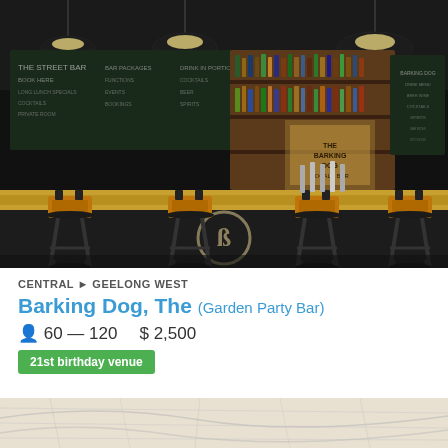[Figure (photo): Interior photo of Barking Dog bar showing bar stools with orange backs, dark bar counter with 'B' logo circle emblem, shelves of liquor bottles, pendant lights, and chalkboard menu on the wall.]
CENTRAL ▶ GEELONG WEST
Barking Dog, The (Garden Party Bar)
👤 60 — 120   $ 2,500
21st birthday venue
[Figure (photo): Partial view of another venue photo at the bottom of the page.]